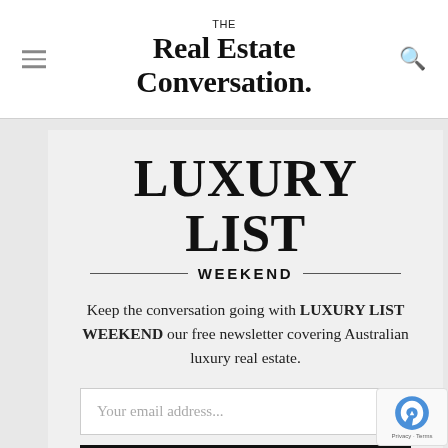THE Real Estate Conversation.
LUXURY LIST
WEEKEND
Keep the conversation going with LUXURY LIST WEEKEND our free newsletter covering Australian luxury real estate.
Your email address...
SUBSCRIBE